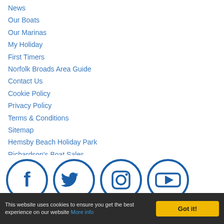News
Our Boats
Our Marinas
My Holiday
First Timers
Norfolk Broads Area Guide
Contact Us
Cookie Policy
Privacy Policy
Terms & Conditions
Sitemap
Hemsby Beach Holiday Park
Richardson's Boat Sales
Richardson's Family Entertainment Centre
[Figure (logo): Four social media icons in circles: Facebook, Twitter, Instagram, YouTube — all in dark blue outline style]
This website uses cookies to ensure you get the best experience on our website More info
Got it!